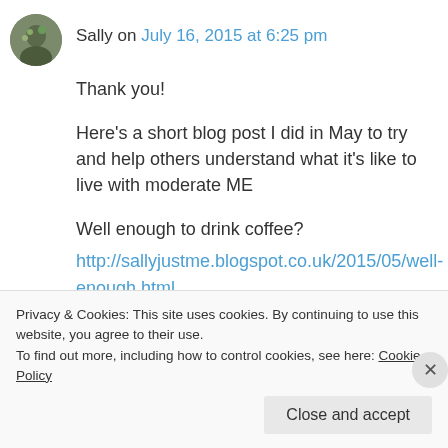Sally on July 16, 2015 at 6:25 pm
Thank you!
Here's a short blog post I did in May to try and help others understand what it's like to live with moderate ME
Well enough to drink coffee?
http://sallyjustme.blogspot.co.uk/2015/05/well-enough.html
Privacy & Cookies: This site uses cookies. By continuing to use this website, you agree to their use.
To find out more, including how to control cookies, see here: Cookie Policy